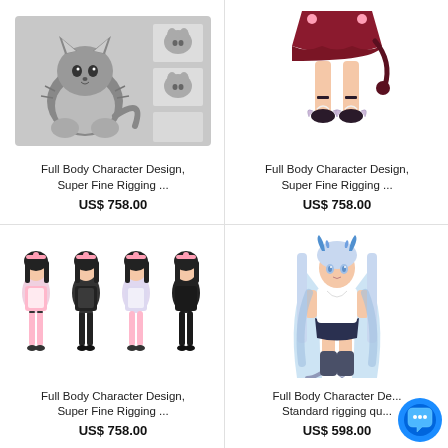[Figure (illustration): Grayscale anime-style fluffy cat character with reference sheets]
Full Body Character Design, Super Fine Rigging ...
US$ 758.00
[Figure (illustration): Anime girl lower body in dark red skirt with cat tail and ribboned shoes]
Full Body Character Design, Super Fine Rigging ...
US$ 758.00
[Figure (illustration): Four anime maid/nurse character variants with pink and black outfits and stockings]
Full Body Character Design, Super Fine Rigging ...
US$ 758.00
[Figure (illustration): Anime dragon girl with blue horns, long silver-blue hair, white top and dark skirt with dragon tail]
Full Body Character Design, Standard rigging qu...
US$ 598.00